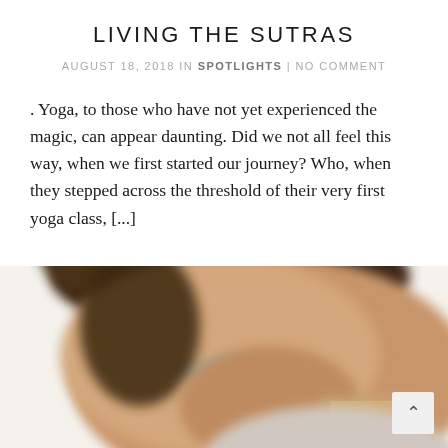LIVING THE SUTRAS
AUGUST 18, 2018 IN SPOTLIGHTS | NO COMMENT
. Yoga, to those who have not yet experienced the magic, can appear daunting. Did we not all feel this way, when we first started our journey? Who, when they stepped across the threshold of their very first yoga class, [...]
CONTINUE READING
[Figure (photo): Close-up blurred photo of a person's face, looking upward, shot from below at an angle. The image is partially cropped at the bottom of the page.]